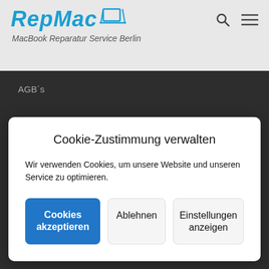[Figure (logo): RepMac logo with laptop icon and tagline 'MacBook Reparatur Service Berlin']
AGB´s
Cookie-Zustimmung verwalten
Wir verwenden Cookies, um unsere Website und unseren Service zu optimieren.
Cookies akzeptieren | Ablehnen | Einstellungen anzeigen
© 2022 RepMac – All rights reserved